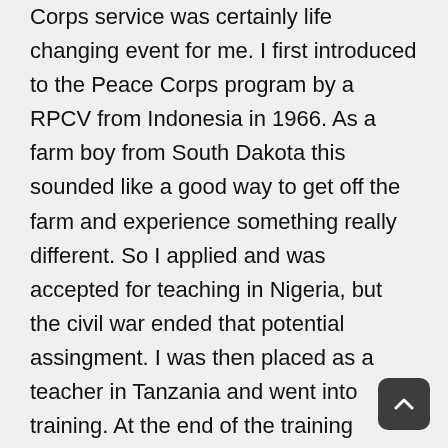Corps service was certainly life changing event for me. I first introduced to the Peace Corps program by a RPCV from Indonesia in 1966. As a farm boy from South Dakota this sounded like a good way to get off the farm and experience something really different. So I applied and was accepted for teaching in Nigeria, but the civil war ended that potential assingment. I was then placed as a teacher in Tanzania and went into training. At the end of the training period there was a disagreement between the US Government and Tanzania. Our program, Tanzania 13, was cancelled. Volunteers were placed in several East